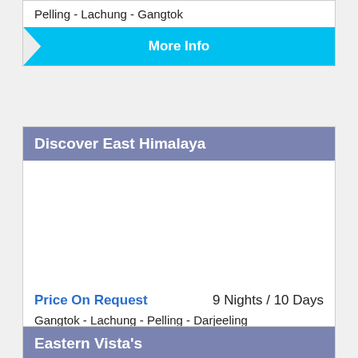Pelling - Lachung - Gangtok
More Info
Discover East Himalaya
Price On Request    9 Nights / 10 Days
Gangtok - Lachung - Pelling - Darjeeling
More Info
Eastern Vista's